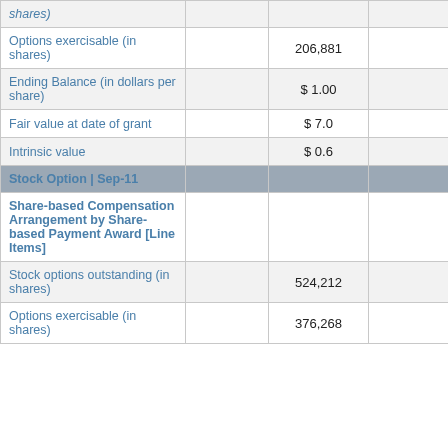|  |  |  |  |
| --- | --- | --- | --- |
| shares) |  |  |  |
| Options exercisable (in shares) |  | 206,881 |  |
| Ending Balance (in dollars per share) |  | $ 1.00 |  |
| Fair value at date of grant |  | $ 7.0 |  |
| Intrinsic value |  | $ 0.6 |  |
| Stock Option | Sep-11 |  |  |  |
| Share-based Compensation Arrangement by Share-based Payment Award [Line Items] |  |  |  |
| Stock options outstanding (in shares) |  | 524,212 |  |
| Options exercisable (in shares) |  | 376,268 |  |